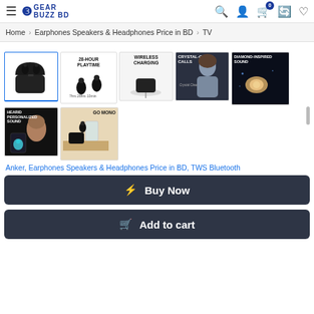Gear Buzz BD — navigation header with hamburger menu, logo, search, account, cart (0), compare, wishlist icons
Home > Earphones Speakers & Headphones Price in BD > TV
[Figure (photo): Product thumbnail gallery showing TWS earbuds: main earbuds in case, 28-hour playtime feature, wireless charging, crystal-clear calls, diamond-inspired sound, hearID personalized sound, go mono feature]
Anker, Earphones Speakers & Headphones Price in BD, TWS Bluetooth
Buy Now
Add to cart